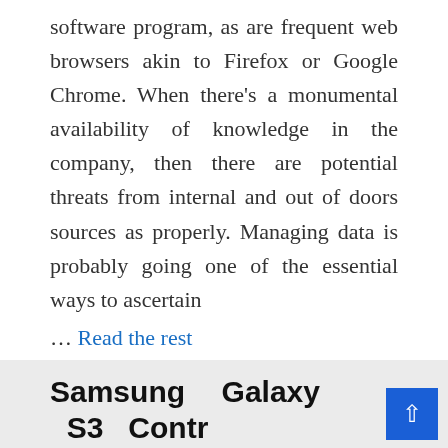software program, as are frequent web browsers akin to Firefox or Google Chrome. When there's a monumental availability of knowledge in the company, then there are potential threats from internal and out of doors sources as properly. Managing data is probably going one of the essential ways to ascertain
... Read the rest
READ MORE
Filed Under: Computer
Tagged With: computer
Samsung Galaxy S3 Contra Afforda